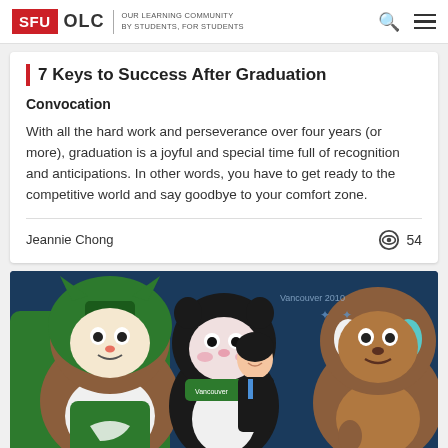SFU OLC | OUR LEARNING COMMUNITY BY STUDENTS, FOR STUDENTS
7 Keys to Success After Graduation
Convocation
With all the hard work and perseverance over four years (or more), graduation is a joyful and special time full of recognition and anticipations. In other words, you have to get ready to the competitive world and say goodbye to your comfort zone.
Jeannie Chong
54
[Figure (photo): Photo of three large costumed mascots from the Vancouver 2010 Olympics/Paralympics (Miga, Mukmuk, and Quatchi) posing with a smiling woman in a black jacket, in front of Vancouver 2010 branded backdrop.]